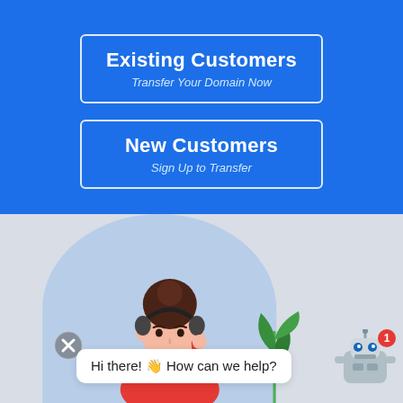Existing Customers
Transfer Your Domain Now
New Customers
Sign Up to Transfer
[Figure (illustration): Customer support representative with headphones and a chat bot widget showing 'Hi there! 👋 How can we help?']